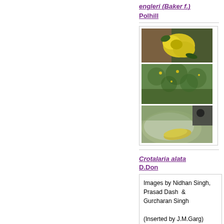engleri (Baker f.) Polhill
[Figure (photo): Three botanical photos showing yellow flowers, green shrub, and seed pod of Crotalaria engleri]
Crotalaria alata D.Don
Images by Nidhan Singh, Prasad Dash  & Gurcharan Singh
(Inserted by J.M.Garg)